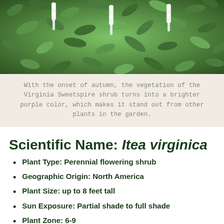[Figure (photo): Close-up photo of Virginia Sweetspire shrub with green leaves and white flower spikes]
With the onset of autumn, the vegetation of the Virginia Sweetspire shrub turns into a brighter purple color, which makes it stand out from other plants in the garden.
Scientific Name: Itea virginica
Plant Type: Perennial flowering shrub
Geographic Origin: North America
Plant Size: up to 8 feet tall
Sun Exposure: Partial shade to full shade
Plant Zone: 6-9
Otherwise known as the Virginia willow, the Virginia sweetspire is a shrub that produces low-growing flowers.